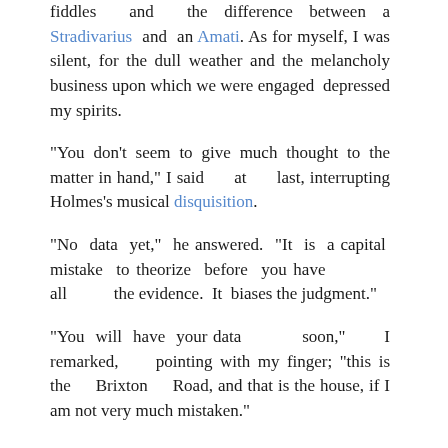fiddles and the difference between a Stradivarius and an Amati. As for myself, I was silent, for the dull weather and the melancholy business upon which we were engaged depressed my spirits.
"You don't seem to give much thought to the matter in hand," I said at last, interrupting Holmes's musical disquisition.
"No data yet," he answered. "It is a capital mistake to theorize before you have all the evidence. It biases the judgment."
"You will have your data soon," I remarked, pointing with my finger; "this is the Brixton Road, and that is the house, if I am not very much mistaken."